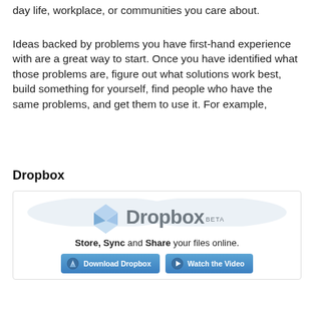day life, workplace, or communities you care about.
Ideas backed by problems you have first-hand experience with are a great way to start. Once you have identified what those problems are, figure out what solutions work best, build something for yourself, find people who have the same problems, and get them to use it. For example,
Dropbox
[Figure (screenshot): Dropbox beta website screenshot showing the Dropbox logo (a blue diamond/box icon with 'Dropbox BETA' text), the tagline 'Store, Sync and Share your files online.', and two buttons: 'Download Dropbox' and 'Watch the Video', both styled in blue with icons.]